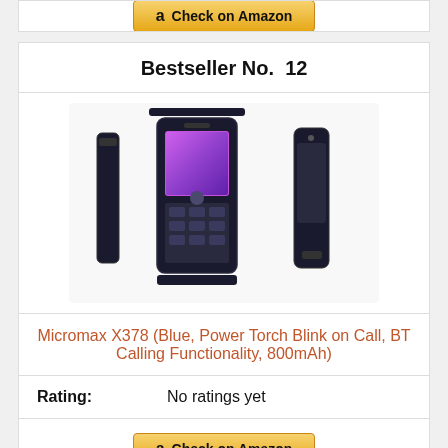[Figure (other): Partial Amazon button cut off at top of page]
Bestseller No. 12
[Figure (photo): Micromax X378 mobile phone shown from front, side, and back views]
Micromax X378 (Blue, Power Torch Blink on Call, BT Calling Functionality, 800mAh)
Rating: No ratings yet
[Figure (other): Check on Amazon button]
Bestseller No. 13